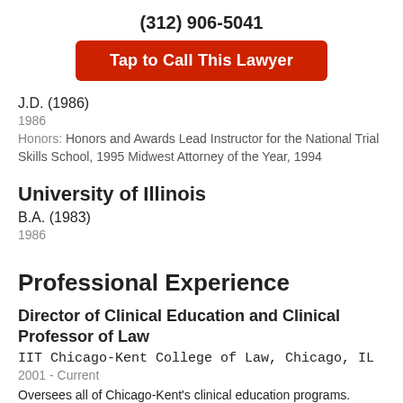(312) 906-5041
[Figure (other): Red button: Tap to Call This Lawyer]
J.D. (1986)
1986
Honors: Honors and Awards Lead Instructor for the National Trial Skills School, 1995 Midwest Attorney of the Year, 1994
University of Illinois
B.A. (1983)
1986
Professional Experience
Director of Clinical Education and Clinical Professor of Law
IIT Chicago-Kent College of Law, Chicago, IL
2001 - Current
Oversees all of Chicago-Kent's clinical education programs. Supervises the